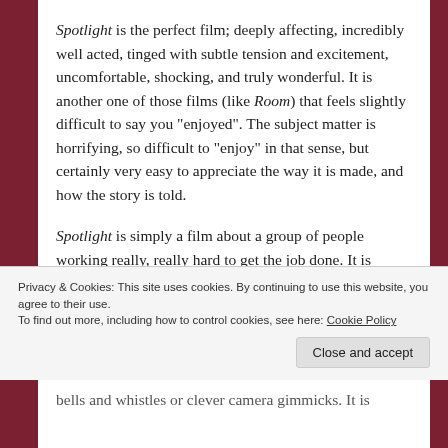Spotlight is the perfect film; deeply affecting, incredibly well acted, tinged with subtle tension and excitement, uncomfortable, shocking, and truly wonderful. It is another one of those films (like Room) that feels slightly difficult to say you "enjoyed". The subject matter is horrifying, so difficult to "enjoy" in that sense, but certainly very easy to appreciate the way it is made, and how the story is told.

Spotlight is simply a film about a group of people working really, really hard to get the job done. It is
Privacy & Cookies: This site uses cookies. By continuing to use this website, you agree to their use.
To find out more, including how to control cookies, see here: Cookie Policy
Close and accept
bells and whistles or clever camera gimmicks. It is